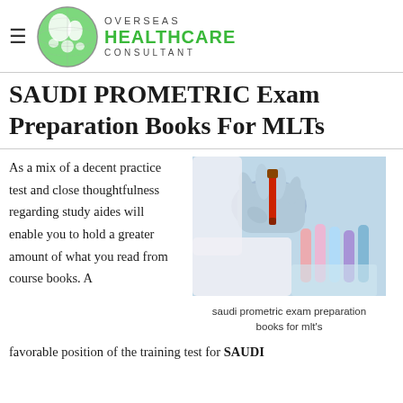OVERSEAS HEALTHCARE CONSULTANT
SAUDI PROMETRIC Exam Preparation Books For MLTs
As a mix of a decent practice test and close thoughtfulness regarding study aides will enable you to hold a greater amount of what you read from course books. A
[Figure (photo): A gloved hand holding a blood sample test tube among laboratory vials]
saudi prometric exam preparation books for mlt's
favorable position of the training test for SAUDI